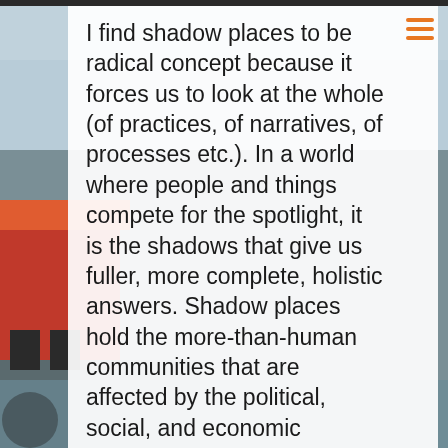[Figure (photo): Background photo of a waterfront building with red/orange roof and dock, partially visible on the left side of the page]
I find shadow places to be radical concept because it forces us to look at the whole (of practices, of narratives, of processes etc.). In a world where people and things compete for the spotlight, it is the shadows that give us fuller, more complete, holistic answers. Shadow places hold the more-than-human communities that are affected by the political, social, and economic discourses and practices. I expect them to prove to be a site for the answers to some of the most difficult questions of our enlightened civilizations ask today about how to survive the coming ages.
My work as Associate Senior Lecturer at the